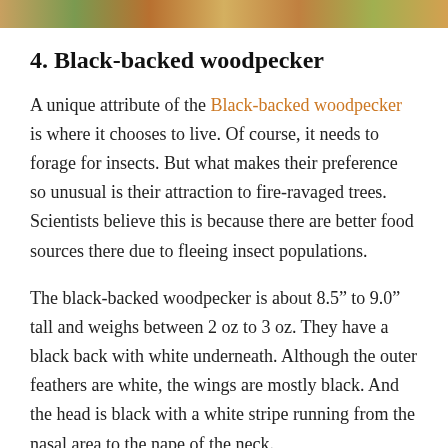[Figure (photo): Partial image strip at top of page showing a bird or nature scene in warm earth tones.]
4. Black-backed woodpecker
A unique attribute of the Black-backed woodpecker is where it chooses to live. Of course, it needs to forage for insects. But what makes their preference so unusual is their attraction to fire-ravaged trees. Scientists believe this is because there are better food sources there due to fleeing insect populations.
The black-backed woodpecker is about 8.5” to 9.0” tall and weighs between 2 oz to 3 oz. They have a black back with white underneath. Although the outer feathers are white, the wings are mostly black. And the head is black with a white stripe running from the nasal area to the nape of the neck.